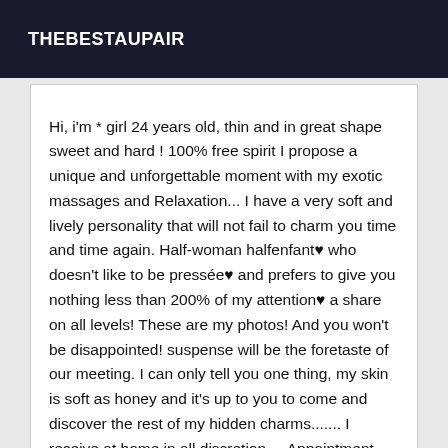THEBESTAUPAIR
Hi, i'm * girl 24 years old, thin and in great shape sweet and hard ! 100% free spirit I propose a unique and unforgettable moment with my exotic massages and Relaxation... I have a very soft and lively personality that will not fail to charm you time and time again. Half-woman halfenfant♥ who doesn't like to be pressée♥ and prefers to give you nothing less than 200% of my attention♥ a share on all levels! These are my photos! And you won't be disappointed! suspense will be the foretaste of our meeting. I can only tell you one thing, my skin is soft as honey and it's up to you to come and discover the rest of my hidden charms....... I receive at home in all discretion ... Appointment minimum 30M or 1H in advance. Incall: 120
[Figure (photo): Blurred/partial photo with an 'Online' badge overlay in the bottom section]